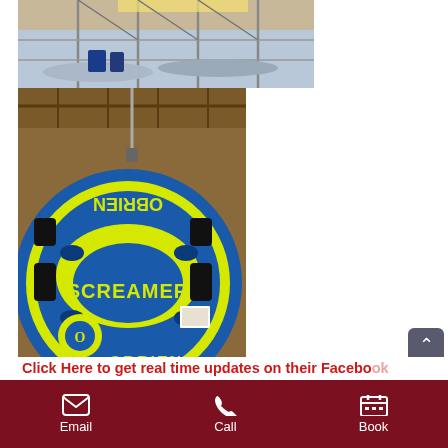[Figure (photo): Indoor marina/boathouse scene with boats, metal rack frames, and equipment visible in a covered structure.]
[Figure (photo): OBrien Screamer inflatable towable tube, yellow and blue, hanging or displayed inside a wooden boathouse structure.]
Click Here to get real time updates on their Facebook Page!
Email  Call  Book